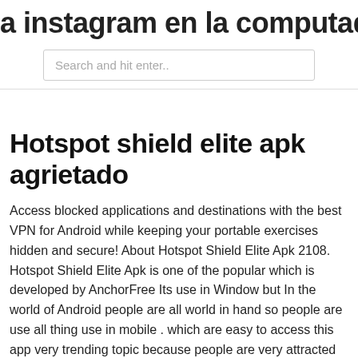a instagram en la computadora de la
Search and hit enter..
Hotspot shield elite apk agrietado
Access blocked applications and destinations with the best VPN for Android while keeping your portable exercises hidden and secure! About Hotspot Shield Elite Apk 2108. Hotspot Shield Elite Apk is one of the popular which is developed by AnchorFree Its use in Window but In the world of Android people are all world in hand so people are use all thing use in mobile . which are easy to access this app very trending topic because people are very attracted to this version people are easily to access all the features which are Hotspot Shield Elite Business Full APK Get the VPN for Android that was granted